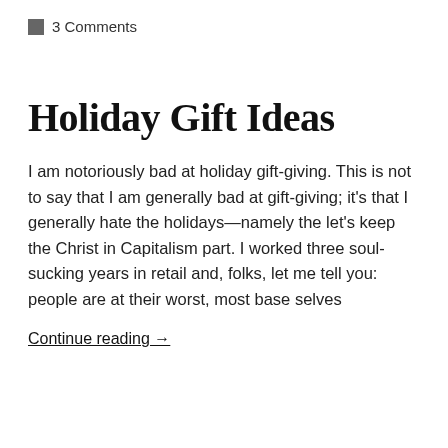3 Comments
Holiday Gift Ideas
I am notoriously bad at holiday gift-giving. This is not to say that I am generally bad at gift-giving; it's that I generally hate the holidays—namely the let's keep the Christ in Capitalism part. I worked three soul-sucking years in retail and, folks, let me tell you: people are at their worst, most base selves
Continue reading  →